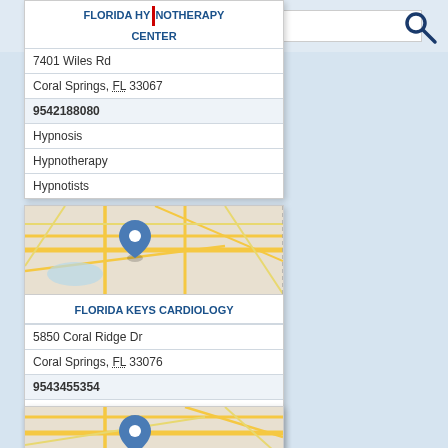[Figure (screenshot): Search bar with white input field and dark blue magnifying glass icon on light blue background]
FLORIDA HYPNOTHERAPY CENTER
7401 Wiles Rd
Coral Springs, FL 33067
9542188080
Hypnosis
Hypnotherapy
Hypnotists
[Figure (map): Street map showing location pin for Florida Keys Cardiology in Coral Springs area]
FLORIDA KEYS CARDIOLOGY
5850 Coral Ridge Dr
Coral Springs, FL 33076
9543455354
Cardiologist
Physicians
[Figure (map): Street map showing location pin for a third business listing, partially visible at bottom]